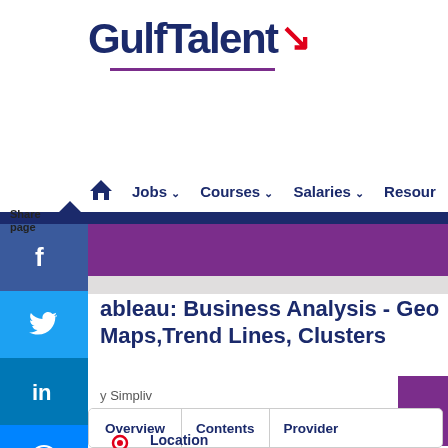[Figure (logo): GulfTalent logo with red accent mark and purple underline]
Jobs  Courses  Salaries  Resources
Share page
Tableau: Business Analysis - Geo Maps,Trend Lines, Clusters
by Simpliv
Overview
Contents
Provider
Location
Feedback